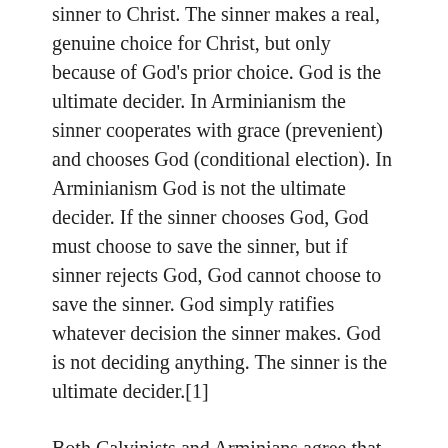sinner to Christ. The sinner makes a real, genuine choice for Christ, but only because of God's prior choice. God is the ultimate decider. In Arminianism the sinner cooperates with grace (prevenient) and chooses God (conditional election). In Arminianism God is not the ultimate decider. If the sinner chooses God, God must choose to save the sinner, but if sinner rejects God, God cannot choose to save the sinner. God simply ratifies whatever decision the sinner makes. God is not deciding anything. The sinner is the ultimate decider.[1]
Both Calvinists and Arminians agree that the sinner chooses Christ. The sinner is not coerced into a decision for Christ. The major difference between Calvinism and Arminianism is what ultimately and finally causes a depraved sinner to choose Christ.